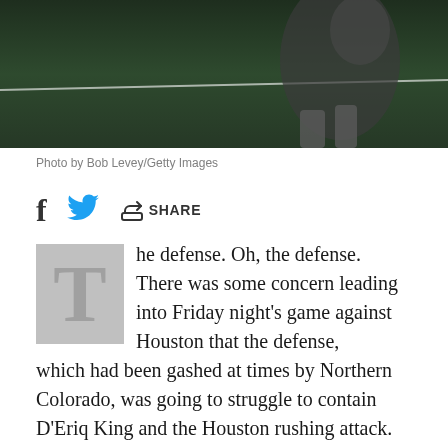[Figure (photo): Sports photo showing a football player on a green field, partial view, dark background]
Photo by Bob Levey/Getty Images
[Figure (infographic): Social share bar with Facebook, Twitter, and share icons]
The defense. Oh, the defense. There was some concern leading into Friday night's game against Houston that the defense, which had been gashed at times by Northern Colorado, was going to struggle to contain D'Eriq King and the Houston rushing attack. And at times, they did. Tackling was questionable, run gaps had poor fits, and there were too many pass interference calls against the secondary. Despite those miscues, the defense did